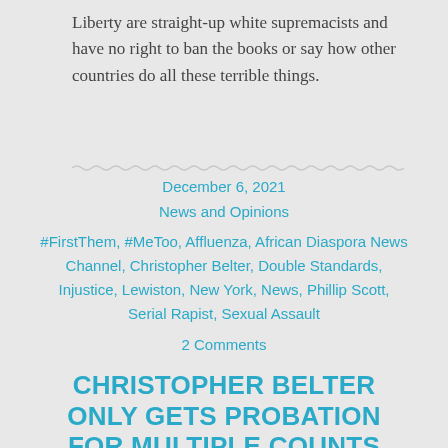Liberty are straight-up white supremacists and have no right to ban the books or say how other countries do all these terrible things.
December 6, 2021
News and Opinions
#FirstThem, #MeToo, Affluenza, African Diaspora News Channel, Christopher Belter, Double Standards, Injustice, Lewiston, New York, News, Phillip Scott, Serial Rapist, Sexual Assault
2 Comments
CHRISTOPHER BELTER ONLY GETS PROBATION FOR MULTIPLE COUNTS OF SEXUAL ASSAULT